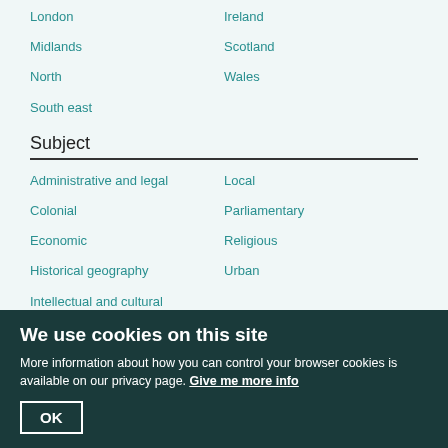London
Ireland
Midlands
Scotland
North
Wales
South east
Subject
Administrative and legal
Local
Colonial
Parliamentary
Economic
Religious
Historical geography
Urban
Intellectual and cultural
Period
Ancient
15th century
Early medieval
16th century
We use cookies on this site
More information about how you can control your browser cookies is available on our privacy page. Give me more info
OK